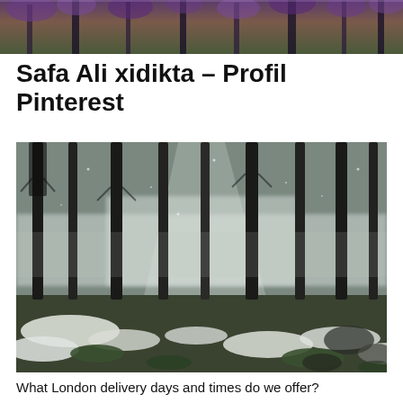[Figure (photo): Top portion of a photo showing purple/dark flowering trees against a bright sky, cropped at the top of the page.]
Safa Ali xidikta – Profil Pinterest
[Figure (photo): A dark misty forest with tall conifer trees, snow patches on a mossy forest floor, atmospheric light filtering through the trees.]
What London delivery days and times do we offer?